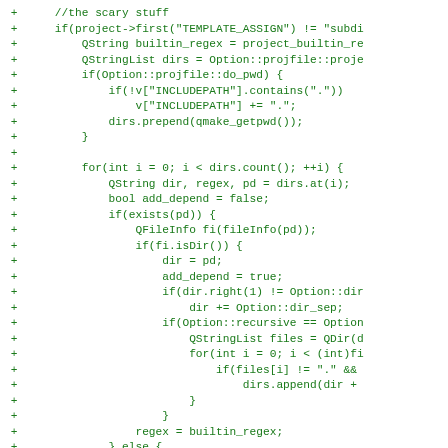[Figure (other): Code diff showing C++ source code additions (lines marked with '+') featuring Qt framework code for project template assignment, directory handling, include path management, and recursive file operations. Green monospace text on white background.]